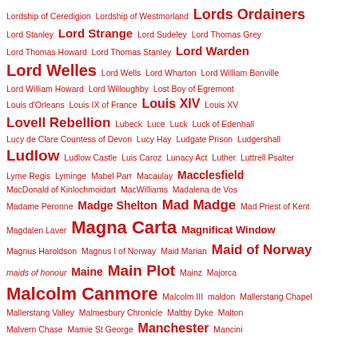Lordship of Ceredigion Lordship of Westmorland Lords Ordainers
Lord Stanley Lord Strange Lord Sudeley Lord Thomas Grey
Lord Thomas Howard Lord Thomas Stanley Lord Warden
Lord Welles Lord Wells Lord Wharton Lord William Bonville
Lord William Howard Lord Willoughby Lost Boy of Egremont
Louis d'Orleans Louis IX of France Louis XIV Louis XV
Lovell Rebellion Lubeck Luce Luck Luck of Edenhall
Lucy de Clare Countess of Devon Lucy Hay Ludgate Prison Ludgershall
Ludlow Ludlow Castle Luis Caroz Lunacy Act Luther Luttrell Psalter
Lyme Regis Lyminge Mabel Parr Macaulay Macclesfield
MacDonald of Kinlochmoidart MacWilliams Madalena de Vos
Madame Peronne Madge Shelton Mad Madge Mad Priest of Kent
Magdalen Laver Magna Carta Magnificat Window
Magnus Haroldson Magnus I of Norway Maid Marian Maid of Norway
maids of honour Maine Main Plot Mainz Majorca
Malcolm Canmore Malcolm III maldon Mallerstang Chapel
Mallerstang Valley Malmesbury Chronicle Maltby Dyke Malton
Malvern Chase Mamie St George Manchester Mancini